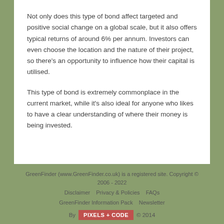Not only does this type of bond affect targeted and positive social change on a global scale, but it also offers typical returns of around 6% per annum. Investors can even choose the location and the nature of their project, so there's an opportunity to influence how their capital is utilised.
This type of bond is extremely commonplace in the current market, while it's also ideal for anyone who likes to have a clear understanding of where their money is being invested.
GreenFinder (www.GreenFinder.co.uk) is a registered site. Copyright © 2006 - 2022
Disclaimer   Privacy & Policies   FAQs
GreenFinder Information Pack   Newsletter
By PIXELS + CODE © 2014